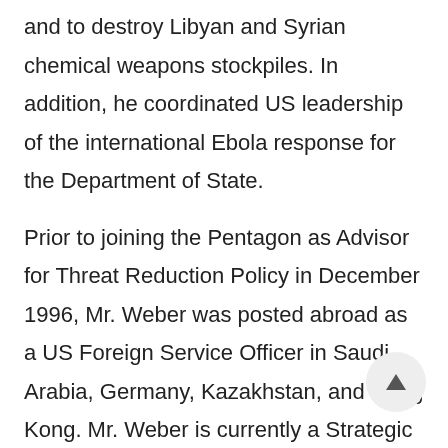and to destroy Libyan and Syrian chemical weapons stockpiles. In addition, he coordinated US leadership of the international Ebola response for the Department of State.
Prior to joining the Pentagon as Advisor for Threat Reduction Policy in December 1996, Mr. Weber was posted abroad as a US Foreign Service Officer in Saudi Arabia, Germany, Kazakhstan, and Hong Kong. Mr. Weber is currently a Strategic Advisor for Ginkgo BioWorks and consultant for DARPA, Lawrence Livermore National Laboratory, and